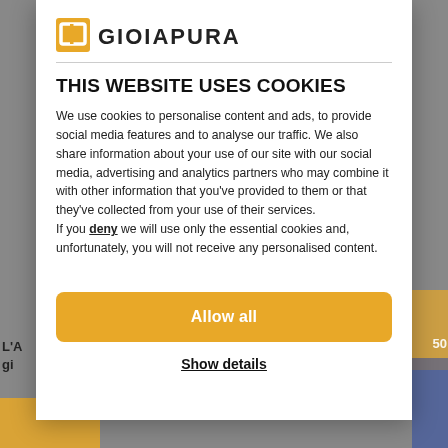[Figure (logo): GioiaPura logo with orange square icon and stylized text]
THIS WEBSITE USES COOKIES
We use cookies to personalise content and ads, to provide social media features and to analyse our traffic. We also share information about your use of our site with our social media, advertising and analytics partners who may combine it with other information that you've provided to them or that they've collected from your use of their services.
If you deny we will use only the essential cookies and, unfortunately, you will not receive any personalised content.
Allow all
Show details